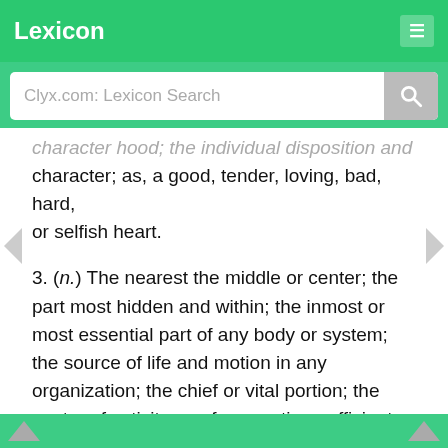Lexicon
character hood; the individual disposition and character; as, a good, tender, loving, bad, hard, or selfish heart.
3. (n.) The nearest the middle or center; the part most hidden and within; the inmost or most essential part of any body or system; the source of life and motion in any organization; the chief or vital portion; the center of activity, or of energetic or efficient action; as, the heart of a country, of a tree, etc.
4. (n.) Courage; courageous purpose; spirit.
5. (n.) Vigorous and efficient activity; power of